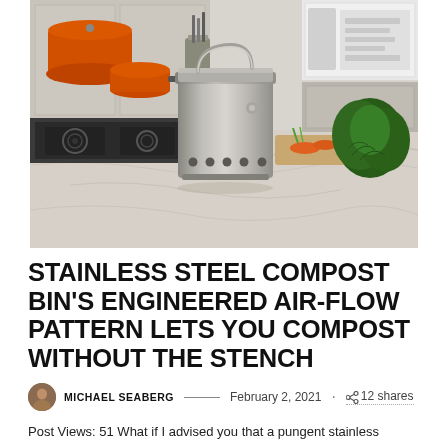[Figure (photo): A stainless steel compost bin with a handle sits on a white marble kitchen countertop. Orange Le Creuset cookware is visible on the left, a gas stove below, and fresh vegetables including carrots and herbs on the right. A white microwave is visible in the background upper right.]
STAINLESS STEEL COMPOST BIN'S ENGINEERED AIR-FLOW PATTERN LETS YOU COMPOST WITHOUT THE STENCH
MICHAEL SEABERG — February 2, 2021 · 12 shares
Post Views: 51 What if I advised you that a pungent stainless